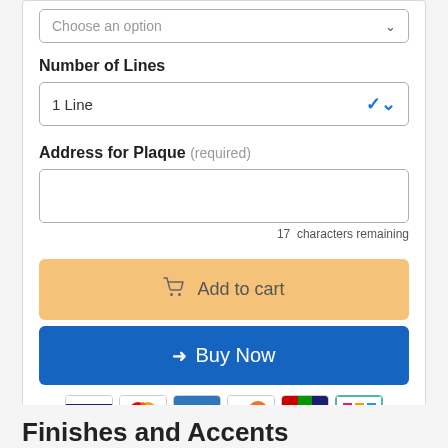Choose an option
Number of Lines
1 Line
Address for Plaque (required)
17  characters remaining
Add to cart
Buy Now
[Figure (other): Payment method icons: Visa, Mastercard, American Express, Discover, and two others]
Finishes and Accents